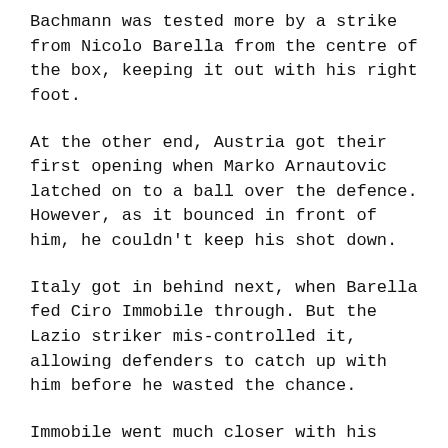Bachmann was tested more by a strike from Nicolo Barella from the centre of the box, keeping it out with his right foot.
At the other end, Austria got their first opening when Marko Arnautovic latched on to a ball over the defence. However, as it bounced in front of him, he couldn’t keep his shot down.
Italy got in behind next, when Barella fed Ciro Immobile through. But the Lazio striker mis-controlled it, allowing defenders to catch up with him before he wasted the chance.
Immobile went much closer with his next effort, sending the ball crashing against the woodwork from the edge of the box. It was the best chance of the half, but the g remained goalless at half-time.